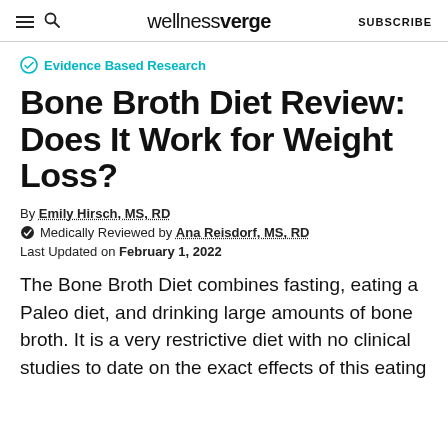wellnessverge | SUBSCRIBE
Evidence Based Research
Bone Broth Diet Review: Does It Work for Weight Loss?
By Emily Hirsch, MS, RD
Medically Reviewed by Ana Reisdorf, MS, RD
Last Updated on February 1, 2022
The Bone Broth Diet combines fasting, eating a Paleo diet, and drinking large amounts of bone broth. It is a very restrictive diet with no clinical studies to date on the exact effects of this eating